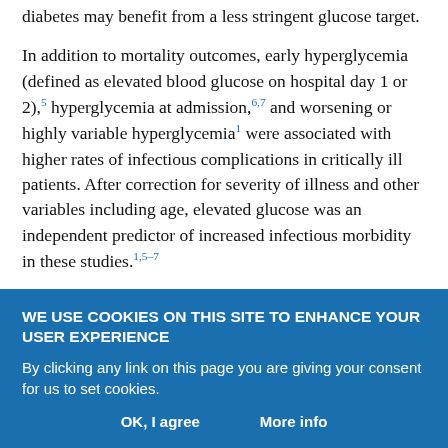diabetes may benefit from a less stringent glucose target.
In addition to mortality outcomes, early hyperglycemia (defined as elevated blood glucose on hospital day 1 or 2),5 hyperglycemia at admission,6,7 and worsening or highly variable hyperglycemia1 were associated with higher rates of infectious complications in critically ill patients. After correction for severity of illness and other variables including age, elevated glucose was an independent predictor of increased infectious morbidity in these studies.1,5–7
To study the complex interplay between acute and chronic hyperglycemia on mortality in hospitalized patients, Roberts et al22
WE USE COOKIES ON THIS SITE TO ENHANCE YOUR USER EXPERIENCE
By clicking any link on this page you are giving your consent for us to set cookies.
OK, I agree
More info